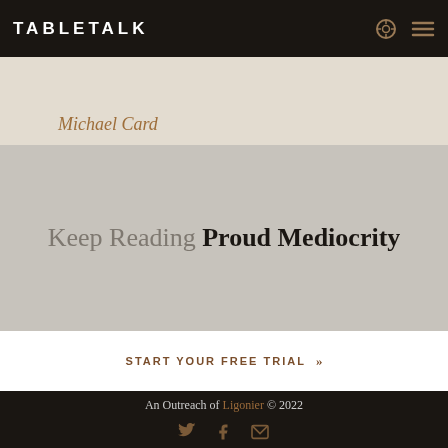TABLETALK
Michael Card
Keep Reading Proud Mediocrity
Start Your Free Trial
An Outreach of Ligonier © 2022